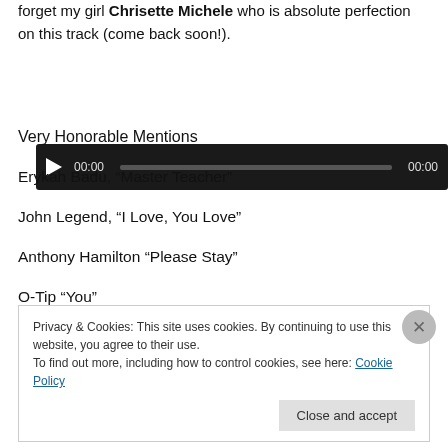forget my girl Chrisette Michele who is absolute perfection on this track (come back soon!).
[Figure (other): Audio player widget with play button, time display 00:00, progress bar, and end time 00:00 on dark background]
Very Honorable Mentions
Erykah Badu, “Master Teacher”
John Legend, “I Love, You Love”
Anthony Hamilton “Please Stay”
O-Tip “You”
Privacy & Cookies: This site uses cookies. By continuing to use this website, you agree to their use.
To find out more, including how to control cookies, see here: Cookie Policy